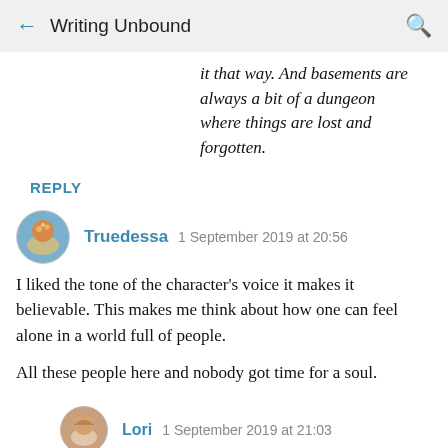← Writing Unbound 🔍
it that way. And basements are always a bit of a dungeon where things are lost and forgotten.
REPLY
Truedessa   1 September 2019 at 20:56
I liked the tone of the character's voice it makes it believable. This makes me think about how one can feel alone in a world full of people.

All these people here and nobody got time for a soul.
Lori   1 September 2019 at 21:03
Thank you. It really is amazing how you can be surrounded by